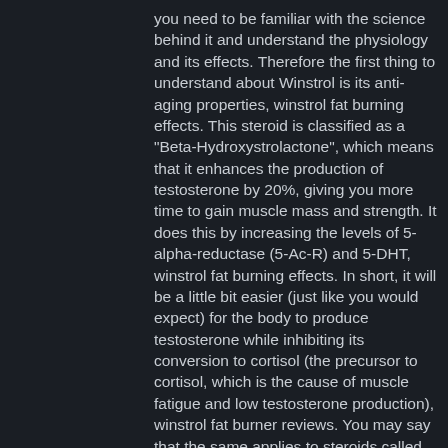you need to be familiar with the science behind it and understand the physiology and its effects. Therefore the first thing to understand about Winstrol is its anti-aging properties, winstrol fat burning effects. This steroid is classified as a "Beta-Hydroxystrolactone", which means that it enhances the production of testosterone by 20%, giving you more time to gain muscle mass and strength. It does this by increasing the levels of 5-alpha-reductase (5-Ac-R) and 5-DHT, winstrol fat burning effects. In short, it will be a little bit easier (just like you would expect) for the body to produce testosterone while inhibiting its conversion to cortisol (the precursor to cortisol, which is the cause of muscle fatigue and low testosterone production), winstrol fat burner reviews. You may say that the same applies to steroids called AAS or anabolic steroids which are generally considered to deliver a bigger bang. Winstrol is not a BAA, therefore it